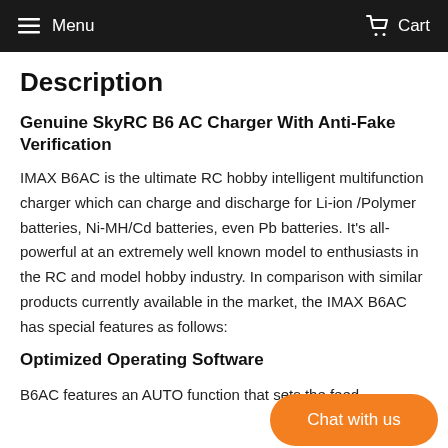Menu   Cart
Description
Genuine SkyRC B6 AC Charger With Anti-Fake Verification
IMAX B6AC is the ultimate RC hobby intelligent multifunction charger which can charge and discharge for Li-ion /Polymer batteries, Ni-MH/Cd batteries, even Pb batteries. It's all-powerful at an extremely well known model to enthusiasts in the RC and model hobby industry. In comparison with similar products currently available in the market, the IMAX B6AC has special features as follows:
Optimized Operating Software
B6AC features an AUTO function that sets the feed